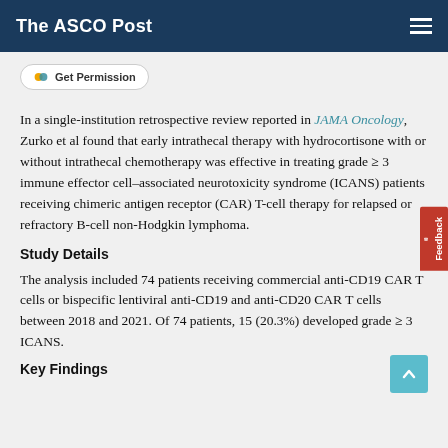The ASCO Post
Get Permission
In a single-institution retrospective review reported in JAMA Oncology, Zurko et al found that early intrathecal therapy with hydrocortisone with or without intrathecal chemotherapy was effective in treating grade ≥ 3 immune effector cell–associated neurotoxicity syndrome (ICANS) patients receiving chimeric antigen receptor (CAR) T-cell therapy for relapsed or refractory B-cell non-Hodgkin lymphoma.
Study Details
The analysis included 74 patients receiving commercial anti-CD19 CAR T cells or bispecific lentiviral anti-CD19 and anti-CD20 CAR T cells between 2018 and 2021. Of 74 patients, 15 (20.3%) developed grade ≥ 3 ICANS.
Key Findings